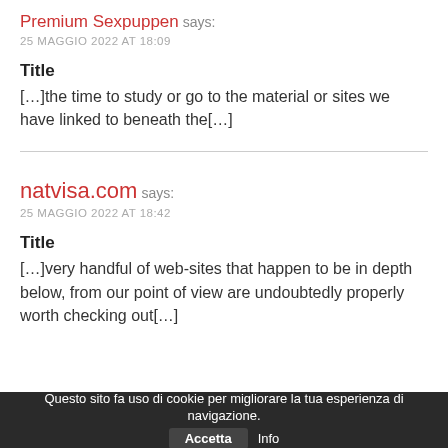Premium Sexpuppen says:
25 MAGGIO 2022 AT 18:09
Title
[…]the time to study or go to the material or sites we have linked to beneath the[…]
natvisa.com says:
25 MAGGIO 2022 AT 18:42
Title
[…]very handful of web-sites that happen to be in depth below, from our point of view are undoubtedly properly worth checking out[…]
Questo sito fa uso di cookie per migliorare la tua esperienza di navigazione. Accetta  Info